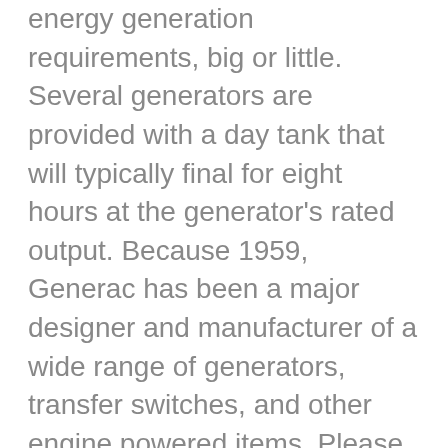energy generation requirements, big or little. Several generators are provided with a day tank that will typically final for eight hours at the generator's rated output. Because 1959, Generac has been a major designer and manufacturer of a wide range of generators, transfer switches, and other engine powered items. Please Note: Some big canopy generators will demand an offload facility at delivery location, such as a forklift or other kind of lifting equipment. Diesel generators are nonetheless a lot more price effective than other generators and that is why a lot of use diesel generators and is rated as one particular of the highest utilised generators. From compact and lightweight portable generators to heavy duty three phase generators, we have a fantastic variety of diesel and petrol generators suitable for domestic, industrial and industrial use. It is correct that the diesel engine has come a lengthy way from